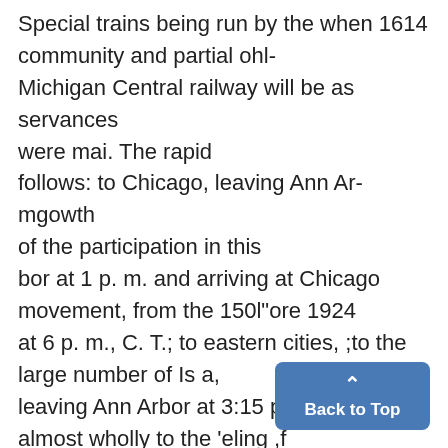Special trains being run by the when 1614 community and partial ohl- Michigan Central railway will be as servances were mai. The rapid follows: to Chicago, leaving Ann Ar- mgowth of the participation in this bor at 1 p. m. and arriving at Chicago movement, from the 150l"ore 1924 at 6 p. m., C. T.; to eastern cities, ;to the large number of Is a, leaving Ann Arbor at 3:15 p. i. and'laid almost wholly to the 'eling ,f arriving at New York at 7:50 a. m the various town in that